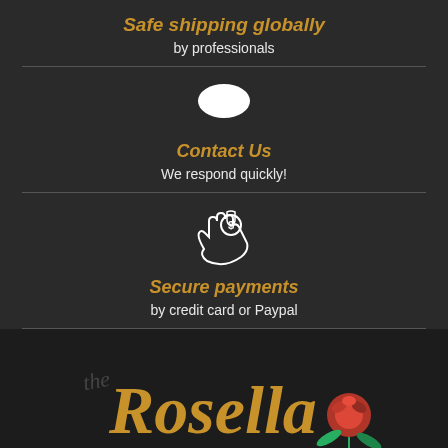Safe shipping globally
by professionals
[Figure (illustration): White speech bubble / contact us icon]
Contact Us
We respond quickly!
[Figure (illustration): Hand holding coin with shield/security icon representing secure payments]
Secure payments
by credit card or Paypal
[Figure (logo): The Rosella logo with golden cursive text and red rose illustration]